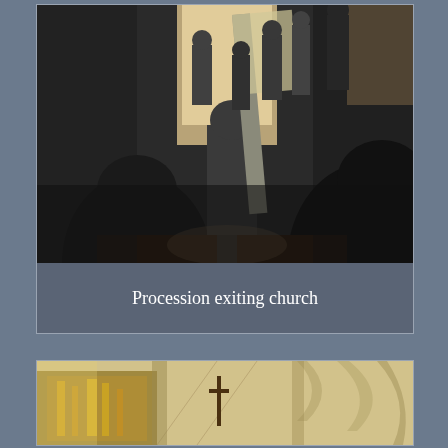[Figure (photo): Photograph of a procession exiting a church, viewed from inside looking toward the bright doorway. People in dark formal attire are seen from behind, with a flag or banner visible, bright light streaming from outside.]
Procession exiting church
[Figure (photo): Photograph of a cathedral interior showing gothic stone arches, ornate altar area with gold decorations, and tall vaulted ceilings with warm lighting.]